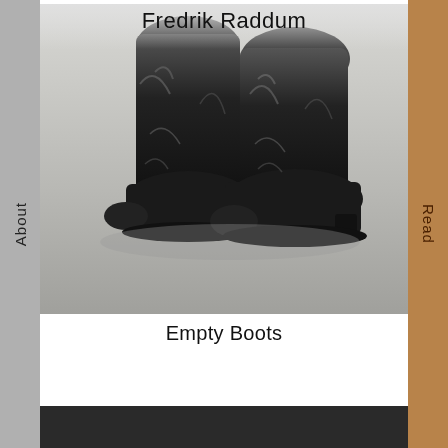About
Read
Fredrik Raddum
[Figure (photo): Close-up photograph of a dark bronze or painted sculpture depicting a pair of worn, distressed boots. The boots appear heavily textured with a rough, weathered surface. They stand on a light grey surface. The upper parts of the boots are cut off at the top of the image.]
Empty Boots